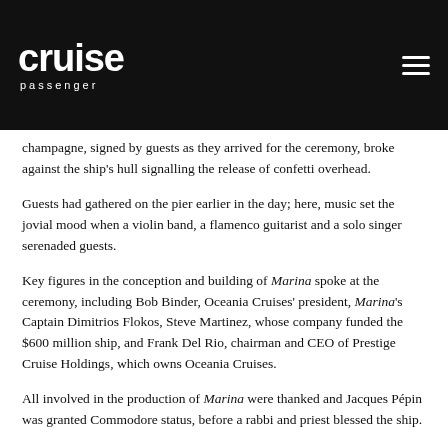cruise passenger
champagne, signed by guests as they arrived for the ceremony, broke against the ship's hull signalling the release of confetti overhead.
Guests had gathered on the pier earlier in the day; here, music set the jovial mood when a violin band, a flamenco guitarist and a solo singer serenaded guests.
Key figures in the conception and building of Marina spoke at the ceremony, including Bob Binder, Oceania Cruises' president, Marina's Captain Dimitrios Flokos, Steve Martinez, whose company funded the $600 million ship, and Frank Del Rio, chairman and CEO of Prestige Cruise Holdings, which owns Oceania Cruises.
All involved in the production of Marina were thanked and Jacques Pépin was granted Commodore status, before a rabbi and priest blessed the ship.